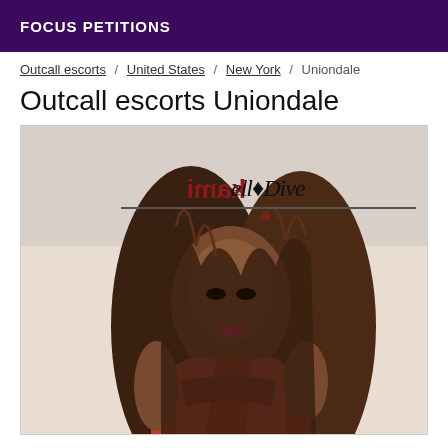FOCUS PETITIONS
Outcall escorts / United States / New York / Uniondale
Outcall escorts Uniondale
[Figure (photo): Photo of a woman with long hair wearing a red outfit, with watermark text 'Kami' (mirrored) and script text overlay with a star and line decoration]